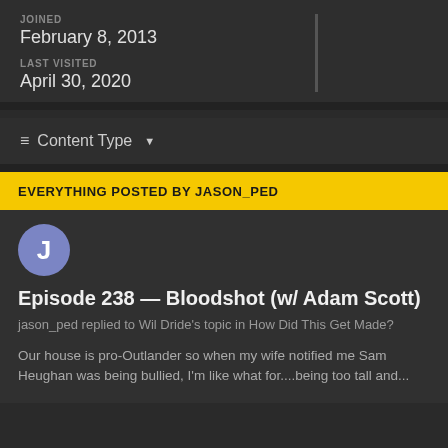JOINED
February 8, 2013
LAST VISITED
April 30, 2020
≡ Content Type ▾
EVERYTHING POSTED BY JASON_PED
Episode 238 — Bloodshot (w/ Adam Scott)
jason_ped replied to Wil Dride's topic in How Did This Get Made?
Our house is pro-Outlander so when my wife notified me Sam Heughan was being bullied, I'm like what for....being too tall and...